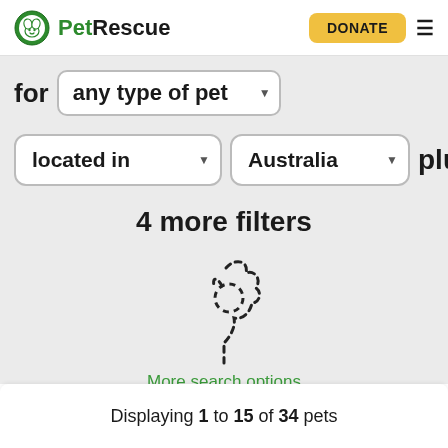PetRescue
for any type of pet
located in Australia plus
4 more filters
[Figure (illustration): Dashed outline illustration of a dog/pet silhouette, used as a loading or empty-state spinner graphic]
More search options
Displaying 1 to 15 of 34 pets